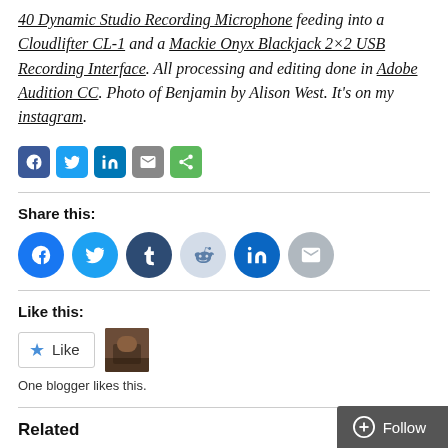40 Dynamic Studio Recording Microphone feeding into a Cloudlifter CL-1 and a Mackie Onyx Blackjack 2×2 USB Recording Interface. All processing and editing done in Adobe Audition CC. Photo of Benjamin by Alison West. It's on my instagram.
[Figure (infographic): Row of small social sharing icon buttons: Facebook (blue), Twitter (blue), LinkedIn (blue), Email (grey), ShareThis (green)]
Share this:
[Figure (infographic): Row of large circular social sharing buttons: Facebook (blue), Twitter (light blue), Tumblr (dark blue), Reddit (light grey-blue), LinkedIn (blue), Email (grey)]
Like this:
[Figure (infographic): Like button widget with star icon and 'Like' text, plus a small avatar thumbnail. Caption: 'One blogger likes this.']
One blogger likes this.
Related
[Figure (infographic): Follow button in bottom right corner]